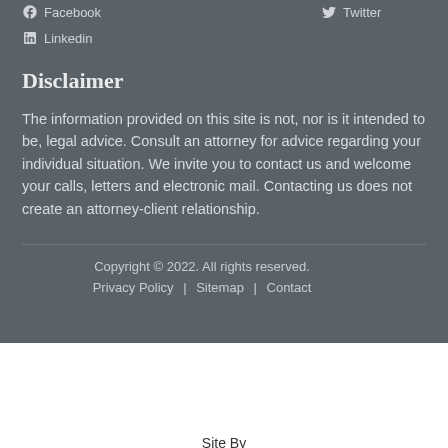Facebook   Twitter
Linkedin
Disclaimer
The information provided on this site is not, nor is it intended to be, legal advice. Consult an attorney for advice regarding your individual situation. We invite you to contact us and welcome your calls, letters and electronic mail. Contacting us does not create an attorney-client relationship.
Copyright © 2022. All rights reserved.
Privacy Policy   Sitemap   Contact
Site By